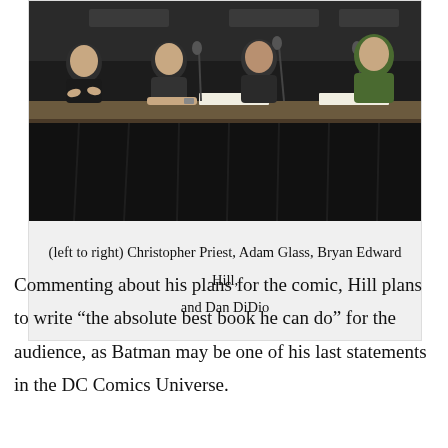[Figure (photo): Panel of people seated at a long table with black draping, microphones in front of them, at what appears to be a comic convention.]
(left to right) Christopher Priest, Adam Glass, Bryan Edward Hill, and Dan DiDio
Commenting about his plans for the comic, Hill plans to write “the absolute best book he can do” for the audience, as Batman may be one of his last statements in the DC Comics Universe.